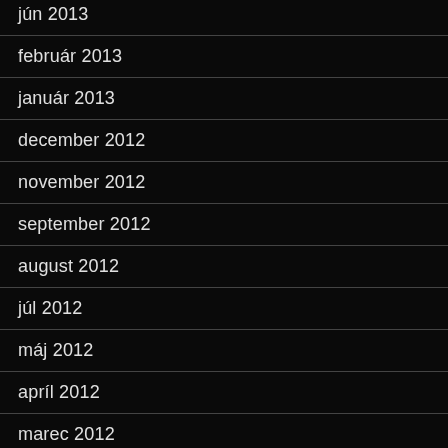jún 2013
február 2013
január 2013
december 2012
november 2012
september 2012
august 2012
júl 2012
máj 2012
apríl 2012
marec 2012
február 2012
január 2012